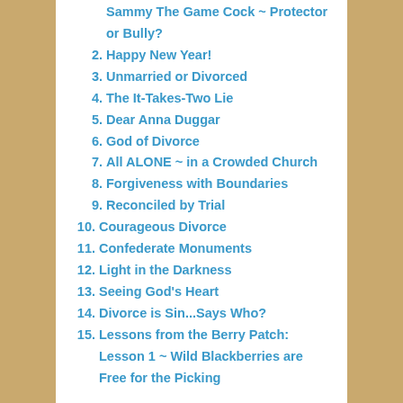1. Sammy The Game Cock ~ Protector or Bully?
2. Happy New Year!
3. Unmarried or Divorced
4. The It-Takes-Two Lie
5. Dear Anna Duggar
6. God of Divorce
7. All ALONE ~ in a Crowded Church
8. Forgiveness with Boundaries
9. Reconciled by Trial
10. Courageous Divorce
11. Confederate Monuments
12. Light in the Darkness
13. Seeing God's Heart
14. Divorce is Sin...Says Who?
15. Lessons from the Berry Patch: Lesson 1 ~ Wild Blackberries are Free for the Picking
RECENT COMMENTS – JOIN THE DISCUSSION!
Things I have read on the internet – 88 | clydeherrin on Divine Will
"Divine Will?" | See, there's this thing called biology... on Divine Will